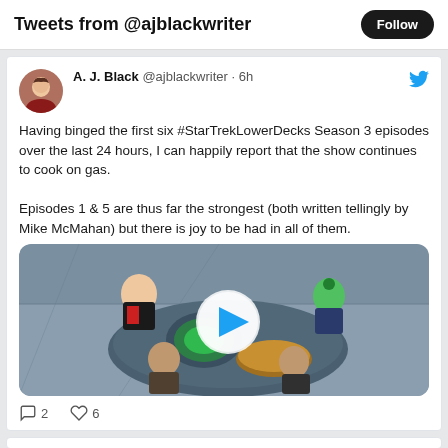Tweets from @ajblackwriter
A. J. Black @ajblackwriter · 6h
Having binged the first six #StarTrekLowerDecks Season 3 episodes over the last 24 hours, I can happily report that the show continues to cook on gas.

Episodes 1 & 5 are thus far the strongest (both written tellingly by Mike McMahan) but there is joy to be had in all of them.
[Figure (screenshot): Animated still from Star Trek Lower Decks showing cartoon characters around a table, with a play button overlay]
2  6